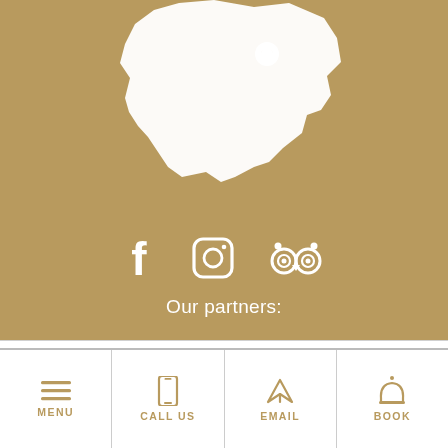[Figure (map): White silhouette map of Belgium on gold/tan background with a location pin marker in the upper right area of the country]
[Figure (infographic): Three social media icons in white: Facebook (f), Instagram (camera square), TripAdvisor (owl face with circles)]
Our partners:
En utilisant notre site Internet, vous acceptez l’utilisation des cookies.
OK   Mentions légales
[Figure (infographic): Bottom navigation bar with four items: MENU (hamburger icon), CALL US (phone icon), EMAIL (paper plane icon), BOOK (bell icon)]